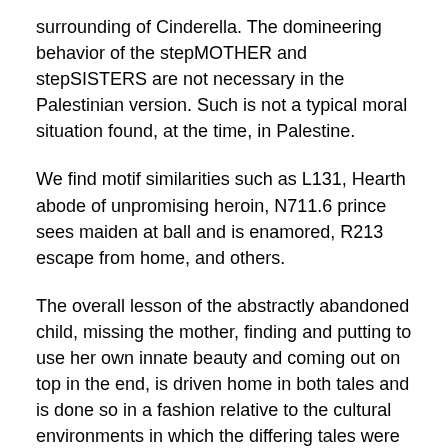surrounding of Cinderella. The domineering behavior of the stepMOTHER and stepSISTERS are not necessary in the Palestinian version. Such is not a typical moral situation found, at the time, in Palestine.
We find motif similarities such as L131, Hearth abode of unpromising heroin, N711.6 prince sees maiden at ball and is enamored, R213 escape from home, and others.
The overall lesson of the abstractly abandoned child, missing the mother, finding and putting to use her own innate beauty and coming out on top in the end, is driven home in both tales and is done so in a fashion relative to the cultural environments in which the differing tales were told.
These two tales are a nice example of the type of